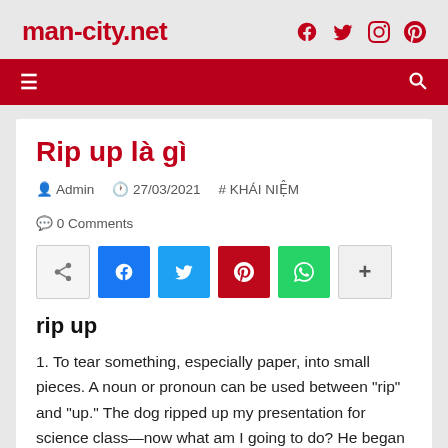man-city.net
Rip up là gì
Admin  27/03/2021  # KHÁI NIỆM  0 Comments
[Figure (other): Social share buttons: share, Facebook, Twitter, Pinterest, WhatsApp, more]
rip up
1. To tear something, especially paper, into small pieces. A noun or pronoun can be used between "rip" and "up." The dog ripped up my presentation for science class—now what am I going to do? He began ripping the ticket up that had been left on his windshield for parking